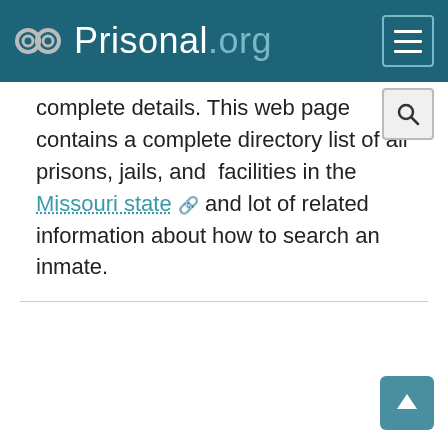Prisonal.org
complete details. This web page contains a complete directory list of all prisons, jails, and facilities in the Missouri state and lot of related information about how to search an inmate.